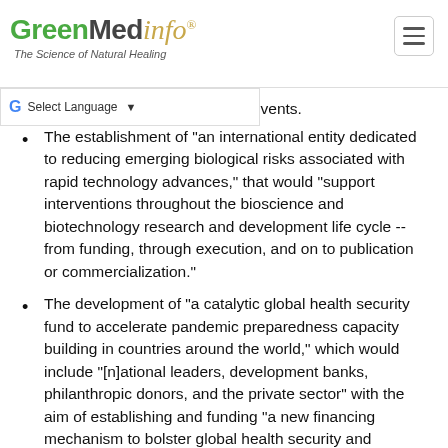GreenMedinfo - The Science of Natural Healing
The establishment of "an international entity dedicated to reducing emerging biological risks associated with rapid technology advances," that would "support interventions throughout the bioscience and biotechnology research and development life cycle -- from funding, through execution, and on to publication or commercialization."
The development of "a catalytic global health security fund to accelerate pandemic preparedness capacity building in countries around the world," which would include "[n]ational leaders, development banks, philanthropic donors, and the private sector" with the aim of establishing and funding "a new financing mechanism to bolster global health security and pandemic preparedness" and that would incentivize "national governments to invest in their own preparedness over the long term."
The establishment of "a robust international process to tackle the challenge of supply chain resilience," based on a "high-